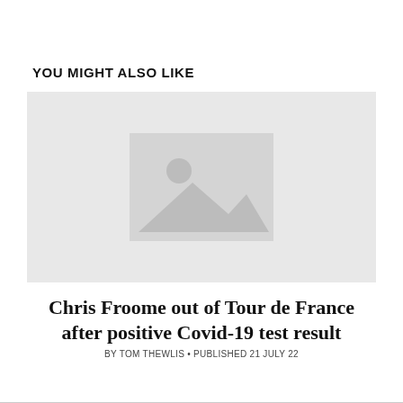YOU MIGHT ALSO LIKE
[Figure (photo): Placeholder image with grey background and image icon in the center]
Chris Froome out of Tour de France after positive Covid-19 test result
BY TOM THEWLIS • PUBLISHED 21 JULY 22